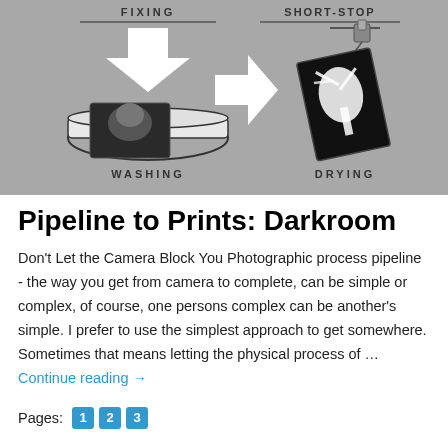[Figure (infographic): Darkroom photographic process diagram showing steps: FIXING (arrow pointing down to developing tray with photo), then arrow pointing right to SHORT-STOP (hung photo drying). Labels: WASHING (left, tray) and DRYING (right, hanging photo).]
Pipeline to Prints: Darkroom
Don't Let the Camera Block You Photographic process pipeline - the way you get from camera to complete, can be simple or complex, of course, one persons complex can be another's simple. I prefer to use the simplest approach to get somewhere. Sometimes that means letting the physical process of … Continue reading →
Pages: 1 2 3